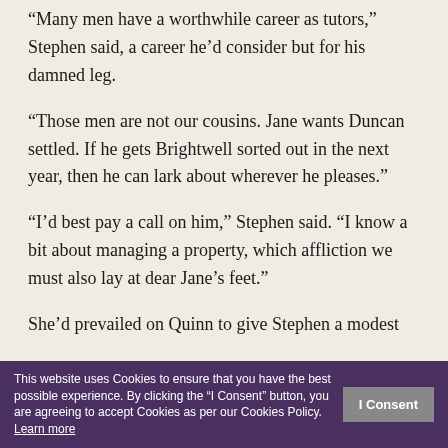“Many men have a worthwhile career as tutors,” Stephen said, a career he’d consider but for his damned leg.
“Those men are not our cousins. Jane wants Duncan settled. If he gets Brightwell sorted out in the next year, then he can lark about wherever he pleases.”
“I’d best pay a call on him,” Stephen said. “I know a bit about managing a property, which affliction we must also lay at dear Jane’s feet.”
She’d prevailed on Quinn to give Stephen a modest … use, in Jane’s estimation, a young man needed his own